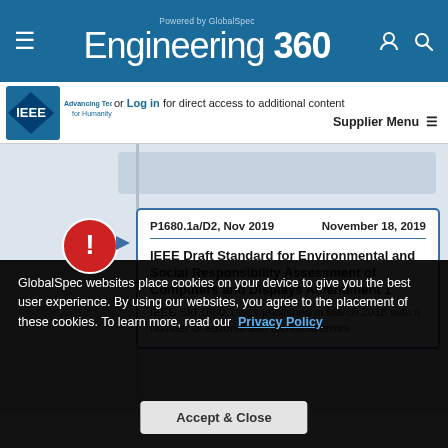Engineering 360 — Powered by GlobalSpec
[Figure (logo): IEEE logo — Advancing Technology for Humanity]
or Log in for direct access to additional content
Supplier Menu
P1680.1a/D2, Nov 2019    November 18, 2019
IEEE Draft Standard for Environmental and Social Responsibility Assessment of Computers and Displays Amendment 1
IEEE Std 1680.1 was published in March 2018 with a number of editorial and technical errors
GlobalSpec websites place cookies on your device to give you the best user experience. By using our websites, you agree to the placement of these cookies. To learn more, read our Privacy Policy
Accept & Close